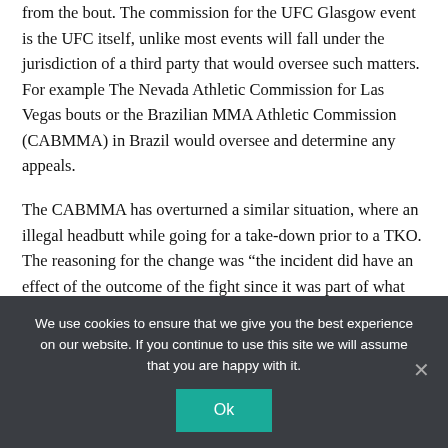from the bout. The commission for the UFC Glasgow event is the UFC itself, unlike most events will fall under the jurisdiction of a third party that would oversee such matters. For example The Nevada Athletic Commission for Las Vegas bouts or the Brazilian MMA Athletic Commission (CABMMA) in Brazil would oversee and determine any appeals.
The CABMMA has overturned a similar situation, where an illegal headbutt while going for a take-down prior to a TKO.  The reasoning for the change was “the incident did have an effect of the outcome of the fight since it was part of what ended the fight.”  If this bout took place in Brazil, it seems that things could have been different.
We use cookies to ensure that we give you the best experience on our website. If you continue to use this site we will assume that you are happy with it.